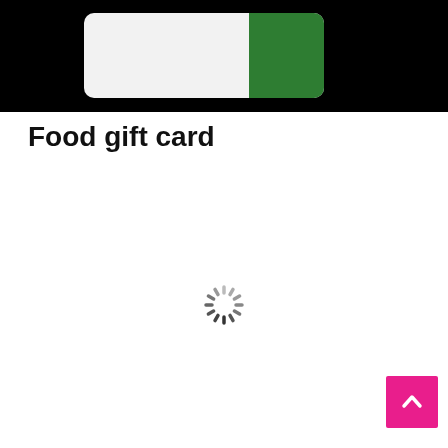[Figure (photo): A food gift card with white and green colors on a black background]
Food gift card
[Figure (other): Loading spinner (circular dashed loading indicator)]
[Figure (other): Back to top button - pink/magenta square button with upward chevron arrow]